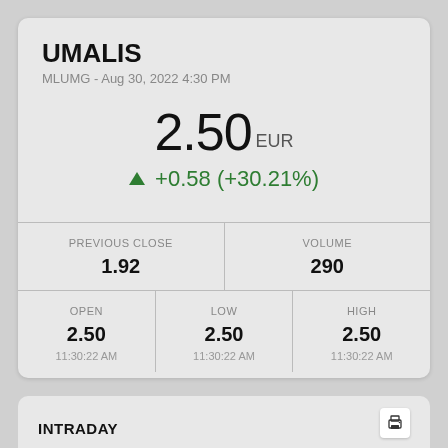UMALIS
MLUMG - Aug 30, 2022 4:30 PM
2.50 EUR
▲ +0.58 (+30.21%)
| PREVIOUS CLOSE | VOLUME |
| --- | --- |
| 1.92 | 290 |
| OPEN | LOW | HIGH |
| --- | --- | --- |
| 2.50 | 2.50 | 2.50 |
| 11:30:22 AM | 11:30:22 AM | 11:30:22 AM |
INTRADAY